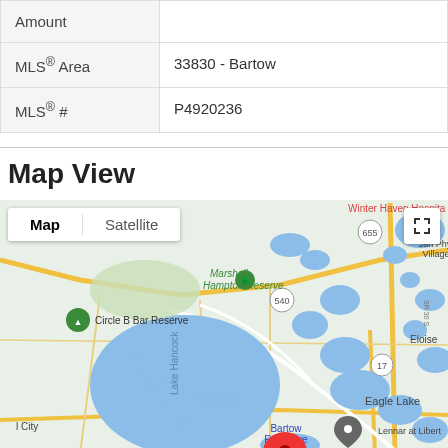|  |  |
| --- | --- |
| Amount |  |
| MLS® Area | 33830 - Bartow |
| MLS® # | P4920236 |
Map View
[Figure (map): Google Map showing the area around Bartow, Florida including Circle B Bar Reserve, Lake Hancock, Marshall Hampton Reserve, Jan Phyl Village, Eagle Lake, Eloise, Bartow Executive Airport, Lennar at Liberty, and Winter Haven Hospital. A red location pin is shown at the bottom center of the map. Route markers 655, 540, and 17 are visible.]